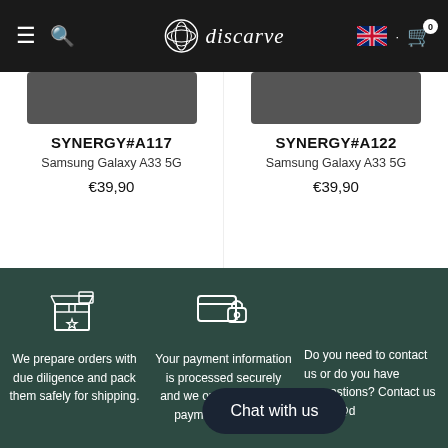[Figure (screenshot): Discarve e-commerce website navigation bar with hamburger menu, search icon, Discarve logo, UK flag, and cart icon showing 0 items]
SYNERGY#A117
Samsung Galaxy A33 5G
€39,90
SYNERGY#A122
Samsung Galaxy A33 5G
€39,90
[Figure (illustration): White package/box icon on dark green background]
We prepare orders with due diligence and pack them safely for shipping.
[Figure (illustration): White credit card with lock icon on dark green background]
Your payment information is processed securely and we only use trusted payment methods.
Do you need to contact us or do you have suggestions? Contact us at info@discarve.com
Chat with us